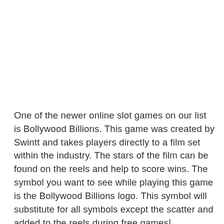One of the newer online slot games on our list is Bollywood Billions. This game was created by Swintt and takes players directly to a film set within the industry. The stars of the film can be found on the reels and help to score wins. The symbol you want to see while playing this game is the Bollywood Billions logo. This symbol will substitute for all symbols except the scatter and added to the reels during free games!